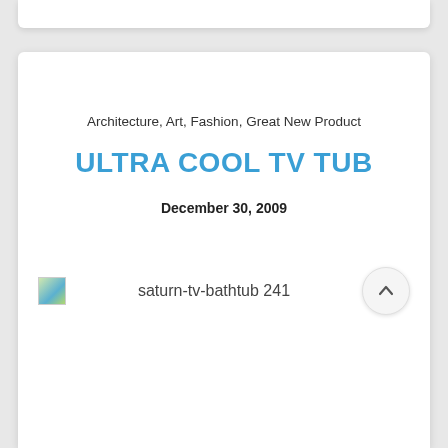Architecture, Art, Fashion, Great New Product
ULTRA COOL TV TUB
December 30, 2009
[Figure (photo): Broken image placeholder with label 'saturn-tv-bathtub 241' and a scroll-to-top button]